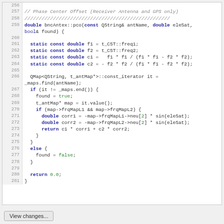[Figure (screenshot): Source code viewer showing C++ function bncAntex::pco lines 256-281 implementing Phase Center Offset calculation for Receiver Antenna and GPS]
View changes...